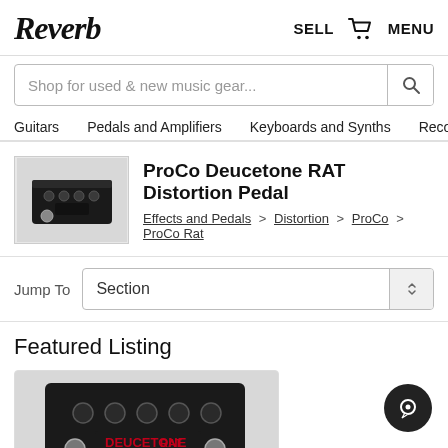Reverb
SELL  MENU
Shop for used & new music gear...
Guitars  Pedals and Amplifiers  Keyboards and Synths  Recording
ProCo Deucetone RAT Distortion Pedal
Effects and Pedals > Distortion > ProCo > ProCo Rat
Jump To  Section
Featured Listing
[Figure (photo): ProCo Deucetone RAT Distortion Pedal product image thumbnail showing a black guitar pedal]
[Figure (photo): ProCo Deucetone RAT Distortion Pedal featured listing product image]